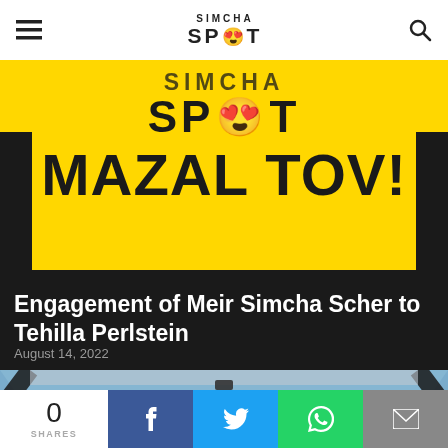SIMCHA SPOT
[Figure (illustration): Yellow banner with SIMCHA SPOT logo and MAZAL TOV! text in bold black on yellow background]
Engagement of Meir Simcha Scher to Tehilla Perlstein
August 14, 2022
[Figure (photo): Partial photo showing interior of a tent or venue structure with grey fabric ceiling]
0 SHARES | Facebook | Twitter | WhatsApp | Email